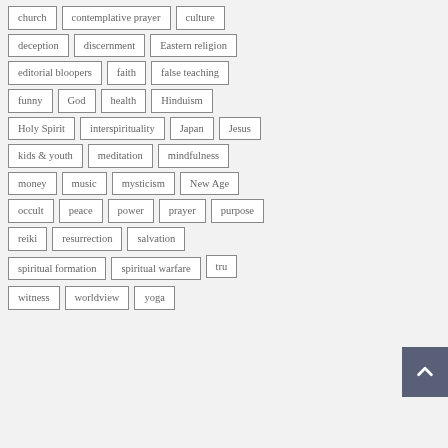church
contemplative prayer
culture
deception
discernment
Eastern religion
editorial bloopers
faith
false teaching
funny
God
health
Hinduism
Holy Spirit
interspirituality
Japan
Jesus
kids & youth
meditation
mindfulness
money
music
mysticism
New Age
occult
peace
power
prayer
purpose
reiki
resurrection
salvation
spiritual formation
spiritual warfare
tru[th]
witness
worldview
yoga